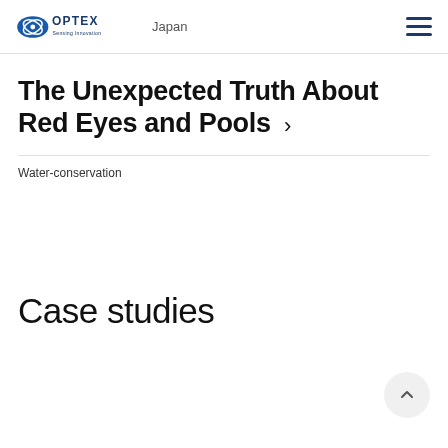OPTEX Sensing Innovation — Japan
The Unexpected Truth About Red Eyes and Pools
Water-conservation
Case studies